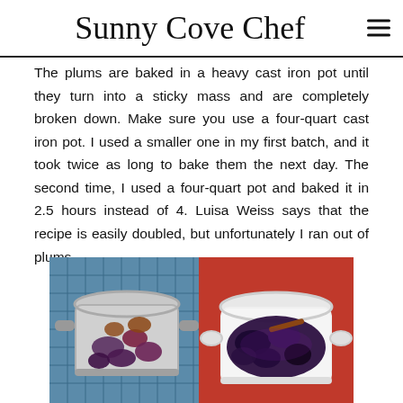Sunny Cove Chef
The plums are baked in a heavy cast iron pot until they turn into a sticky mass and are completely broken down. Make sure you use a four-quart cast iron pot. I used a smaller one in my first batch, and it took twice as long to bake them the next day. The second time, I used a four-quart pot and baked it in 2.5 hours instead of 4. Luisa Weiss says that the recipe is easily doubled, but unfortunately I ran out of plums.
[Figure (photo): A stainless steel pot containing plum pieces on a blue grid surface]
[Figure (photo): A white cast iron pot with handles containing dark braised plums with a cinnamon stick on a red background]